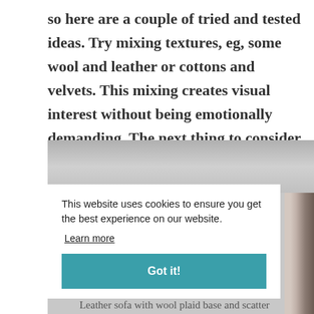so here are a couple of tried and tested ideas. Try mixing textures, eg, some wool and leather or cottons and velvets. This mixing creates visual interest without being emotionally demanding. The next thing to consider is colour.
[Figure (photo): Partial view of a living room scene with a leather sofa, a wool plaid throw or cushion visible at the right edge. The photo is partially obscured by a cookie consent banner overlay.]
This website uses cookies to ensure you get the best experience on our website. Learn more
Got it!
Leather sofa with wool plaid base and scatter